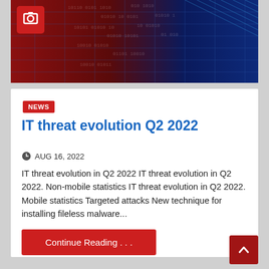[Figure (photo): Dark blue and red themed background with binary/digital data streams, network grid lines — a cybersecurity-themed hero banner image with a camera icon overlay in the top-left corner]
NEWS
IT threat evolution Q2 2022
AUG 16, 2022
IT threat evolution in Q2 2022 IT threat evolution in Q2 2022. Non-mobile statistics IT threat evolution in Q2 2022. Mobile statistics Targeted attacks New technique for installing fileless malware...
Continue Reading . . .